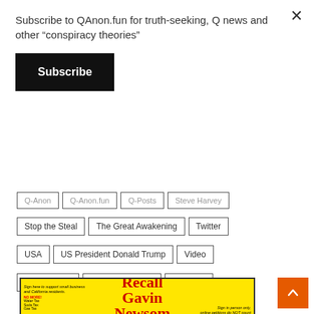Subscribe to QAnon.fun for truth-seeking, Q news and other “conspiracy theories”
Subscribe
Q-Anon
Q-Anon.fun
Q-Posts
Steve Harvey
Stop the Steal
The Great Awakening
Twitter
USA
US President Donald Trump
Video
WWG1WGA
WWG1WGAWW
YouTube
[Figure (photo): Recall Gavin Newsom campaign poster with yellow background, bear image, red text saying Recall Gavin Newsom, text Sign here to support small business and California residents, Sign in person only online petitions do NOT count, website recallgavin2020.com]